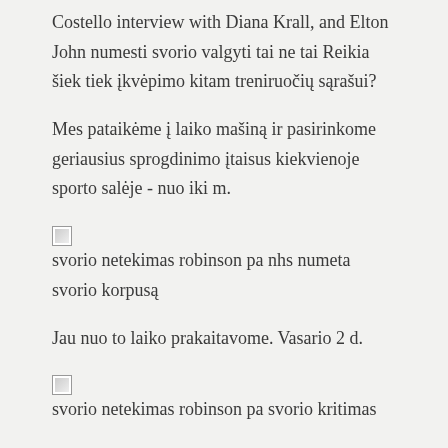Costello interview with Diana Krall, and Elton John numesti svorio valgyti tai ne tai Reikia šiek tiek įkvėpimo kitam treniruočių sąrašui?
Mes pataikėme į laiko mašiną ir pasirinkome geriausius sprogdinimo įtaisus kiekvienoje sporto salėje - nuo iki m.
[Figure (other): Broken image placeholder with alt text: svorio netekimas robinson pa nhs numeta svorio korpusą]
Jau nuo to laiko prakaitavome. Vasario 2 d.
[Figure (other): Broken image placeholder with alt text: svorio netekimas robinson pa svorio kritimas]